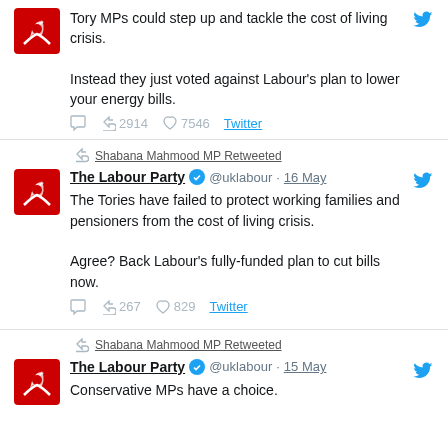[Figure (screenshot): Partial tweet from The Labour Party: 'Tory MPs could step up and tackle the cost of living crisis. Instead they just voted against Labour's plan to lower your energy bills.' with 2914 retweets and 7546 likes.]
[Figure (screenshot): Retweet by Shabana Mahmood MP of The Labour Party @uklabour 16 May: 'The Tories have failed to protect working families and pensioners from the cost of living crisis. Agree? Back Labour's fully-funded plan to cut bills now.' with 267 retweets and 829 likes.]
[Figure (screenshot): Retweet by Shabana Mahmood MP of The Labour Party @uklabour 15 May: 'Conservative MPs have a choice...' (truncated)]